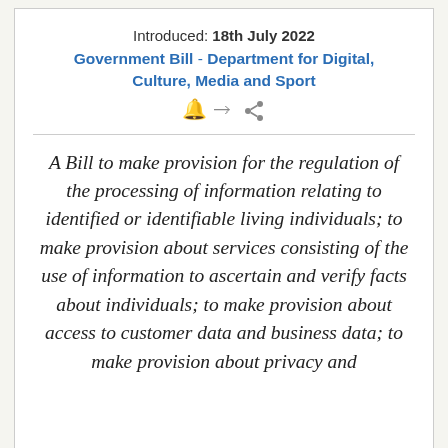Introduced: 18th July 2022
Government Bill - Department for Digital, Culture, Media and Sport
A Bill to make provision for the regulation of the processing of information relating to identified or identifiable living individuals; to make provision about services consisting of the use of information to ascertain and verify facts about individuals; to make provision about access to customer data and business data; to make provision about privacy and